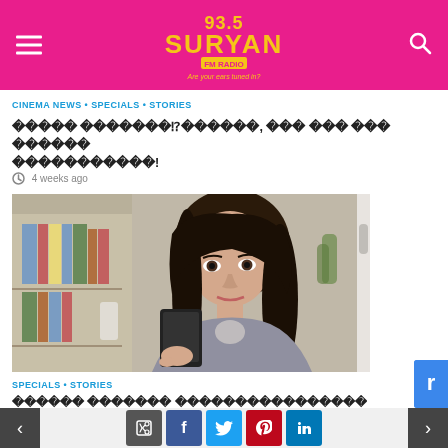93.5 Suryan FM Radio
CINEMA NEWS • SPECIALS • STORIES
????? ????????????????????????, ??? ??? ??? ?????? ???????????!
4 weeks ago
[Figure (photo): Woman looking at a smartphone with a concerned or shocked expression, sitting indoors with a bookshelf in the background]
SPECIALS • STORIES
?????? ??????? ??????????????????